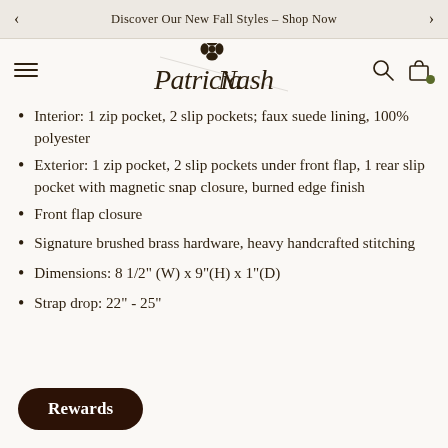Discover Our New Fall Styles – Shop Now
[Figure (logo): Patricia Nash cursive script logo with floral emblem]
Interior: 1 zip pocket, 2 slip pockets; faux suede lining, 100% polyester
Exterior: 1 zip pocket, 2 slip pockets under front flap, 1 rear slip pocket with magnetic snap closure, burned edge finish
Front flap closure
Signature brushed brass hardware, heavy handcrafted stitching
Dimensions: 8 1/2" (W) x 9"(H) x 1"(D)
Strap drop: 22" - 25"
Rewards